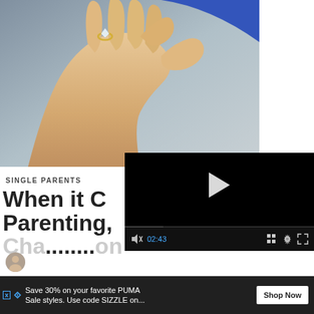[Figure (photo): A hand holding a diamond ring between two fingers, close-up photo with blurred background]
[Figure (screenshot): Video player with black background, white play button triangle, progress bar, controls showing mute icon, timecode 02:43, grid icon, settings gear, and fullscreen expand icon]
SINGLE PARENTS
When it C
Parenting,
Cha... on
[Figure (other): Advertisement banner: Save 30% on your favorite PUMA Sale styles. Use code SIZZLE on... with Shop Now button]